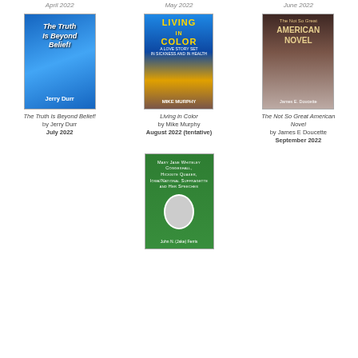April 2022
May 2022
June 2022
[Figure (illustration): Book cover: The Truth Is Beyond Belief! by Jerry Durr. Blue sky with clouds background.]
The Truth Is Beyond Belief!
by Jerry Durr
July 2022
[Figure (illustration): Book cover: Living in Color by Mike Murphy. Blue sky and water with silhouette of couple.]
Living in Color
by Mike Murphy
August 2022 (tentative)
[Figure (illustration): Book cover: The Not So Great American Novel by James E. Doucette. Interior scene with figures.]
The Not So Great American Novel
by James E Doucette
September 2022
[Figure (illustration): Book cover: Mary Jane Whiteley Coggeshall, Hicksite Quaker, Iowa/National Suffragette and Her Speeches, by John N. (Jake) Ferris. Green cover with oval portrait.]